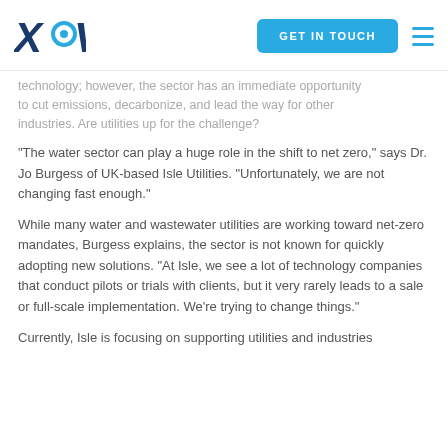XPV | GET IN TOUCH
technology; however, the sector has an immediate opportunity to cut emissions, decarbonize, and lead the way for other industries. Are utilities up for the challenge?
"The water sector can play a huge role in the shift to net zero," says Dr. Jo Burgess of UK-based Isle Utilities. "Unfortunately, we are not changing fast enough."
While many water and wastewater utilities are working toward net-zero mandates, Burgess explains, the sector is not known for quickly adopting new solutions. "At Isle, we see a lot of technology companies that conduct pilots or trials with clients, but it very rarely leads to a sale or full-scale implementation. We're trying to change things."
Currently, Isle is focusing on supporting utilities and industries